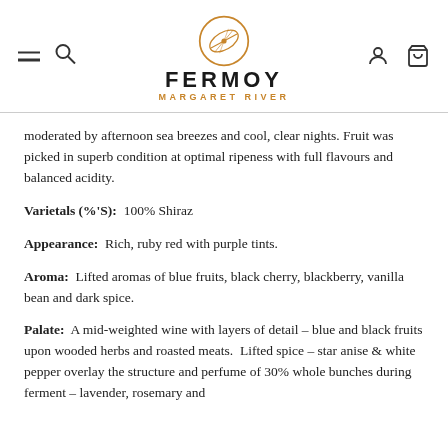FERMOY MARGARET RIVER
moderated by afternoon sea breezes and cool, clear nights. Fruit was picked in superb condition at optimal ripeness with full flavours and balanced acidity.
Varietals (%'S): 100% Shiraz
Appearance: Rich, ruby red with purple tints.
Aroma: Lifted aromas of blue fruits, black cherry, blackberry, vanilla bean and dark spice.
Palate: A mid-weighted wine with layers of detail – blue and black fruits upon wooded herbs and roasted meats. Lifted spice – star anise & white pepper overlay the structure and perfume of 30% whole bunches during ferment – lavender, rosemary and